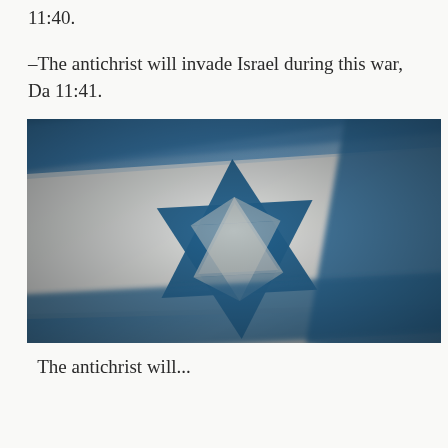11:40.
–The antichrist will invade Israel during this war, Da 11:41.
[Figure (photo): Close-up photograph of an Israeli flag showing the blue Star of David on a white and blue striped fabric, slightly blurred with shallow depth of field.]
The antichrist will...